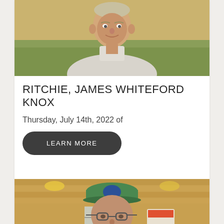[Figure (photo): Portrait photo of an older man in a light-colored collared shirt, outdoors with a grassy field background, warm lighting]
RITCHIE, JAMES WHITEFORD KNOX
Thursday, July 14th, 2022 of
LEARN MORE
[Figure (photo): Photo of an older man wearing a green cap with a logo, glasses, inside a wooden building with warm lighting, lamps visible]